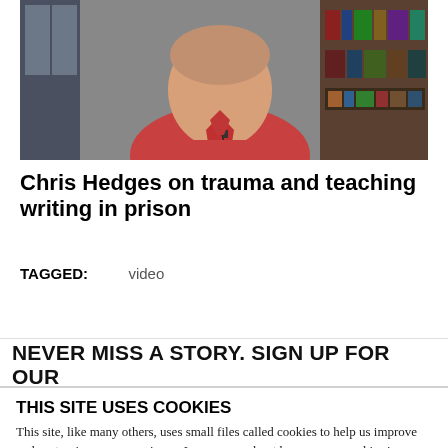[Figure (photo): Photo of a man in a red polo shirt, bookshelf visible in background]
Chris Hedges on trauma and teaching writing in prison
TAGGED: video
NEVER MISS A STORY. SIGN UP FOR OUR
THIS SITE USES COOKIES
This site, like many others, uses small files called cookies to help us improve and customize your experience. Learn more about how we use cookies in our cookie policy.
Learn more about cookies
OK